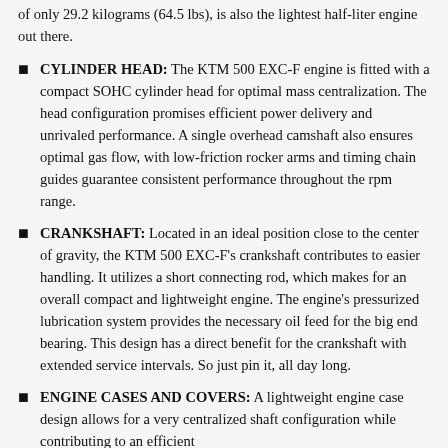of only 29.2 kilograms (64.5 lbs), is also the lightest half-liter engine out there.
CYLINDER HEAD: The KTM 500 EXC-F engine is fitted with a compact SOHC cylinder head for optimal mass centralization. The head configuration promises efficient power delivery and unrivaled performance. A single overhead camshaft also ensures optimal gas flow, with low-friction rocker arms and timing chain guides guarantee consistent performance throughout the rpm range.
CRANKSHAFT: Located in an ideal position close to the center of gravity, the KTM 500 EXC-F's crankshaft contributes to easier handling. It utilizes a short connecting rod, which makes for an overall compact and lightweight engine. The engine's pressurized lubrication system provides the necessary oil feed for the big end bearing. This design has a direct benefit for the crankshaft with extended service intervals. So just pin it, all day long.
ENGINE CASES AND COVERS: A lightweight engine case design allows for a very centralized shaft configuration while contributing to an efficient